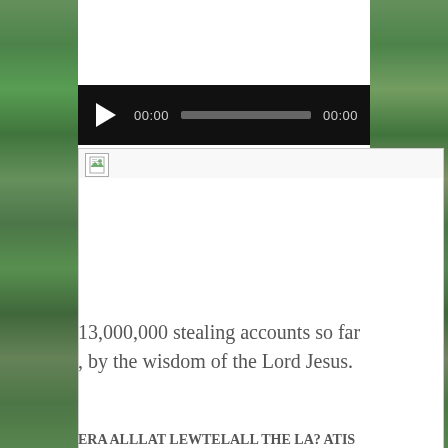[Figure (screenshot): Audio player widget with black background, play button (triangle), time display '00:00', grey progress bar, and end time '00:00']
[Figure (photo): Broken image placeholder icon with white document icon]
13,000,000 stealing accounts so far , by the wisdom of the Lord Jesus.